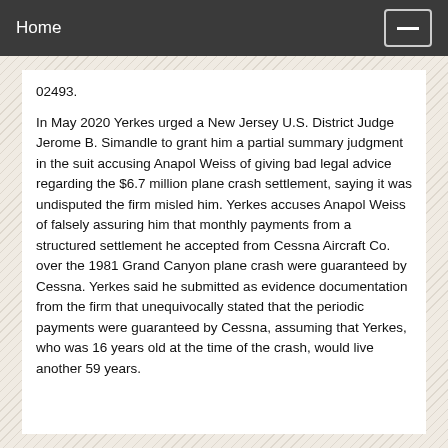Home
02493.
In May 2020 Yerkes urged a New Jersey U.S. District Judge Jerome B. Simandle to grant him a partial summary judgment in the suit accusing Anapol Weiss of giving bad legal advice regarding the $6.7 million plane crash settlement, saying it was undisputed the firm misled him. Yerkes accuses Anapol Weiss of falsely assuring him that monthly payments from a structured settlement he accepted from Cessna Aircraft Co. over the 1981 Grand Canyon plane crash were guaranteed by Cessna. Yerkes said he submitted as evidence documentation from the firm that unequivocally stated that the periodic payments were guaranteed by Cessna, assuming that Yerkes, who was 16 years old at the time of the crash, would live another 59 years.